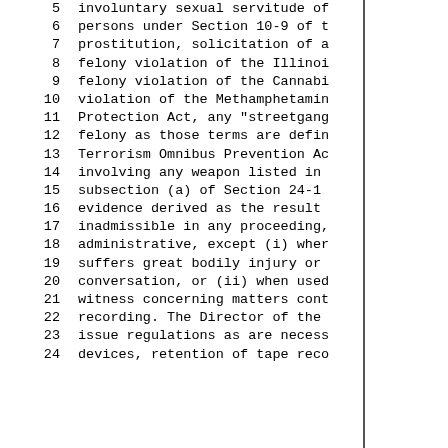5    involuntary sexual servitude of
6    persons under Section 10-9 of t
7    prostitution, solicitation of a
8    felony violation of the Illinoi
9    felony violation of the Cannabi
10   violation of the Methamphetamin
11   Protection Act, any "streetgang
12   felony as those terms are defin
13   Terrorism Omnibus Prevention Ac
14   involving any weapon listed in
15   subsection (a) of Section 24-1
16   evidence derived as the result
17   inadmissible in any proceeding,
18   administrative, except (i) wher
19   suffers great bodily injury or
20   conversation, or (ii) when used
21   witness concerning matters cont
22   recording. The Director of the
23   issue regulations as are necess
24   devices, retention of tape reco